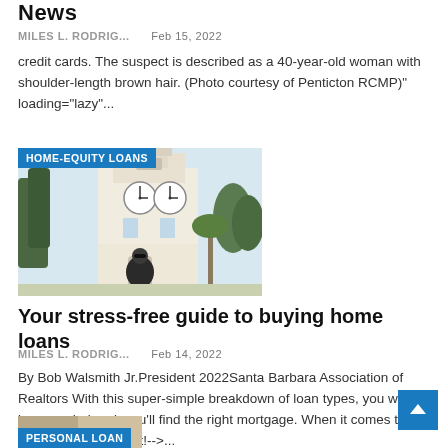News
MILES L. RODRIG...   Feb 15, 2022
credit cards. The suspect is described as a 40-year-old woman with shoulder-length brown hair. (Photo courtesy of Penticton RCMP)" loading="lazy"...
[Figure (photo): Photo of a clock tower building with a person in sunglasses standing in front, overlaid with HOME-EQUITY LOANS category badge]
Your stress-free guide to buying home loans
MILES L. RODRIG...   Feb 14, 2022
By Bob Walsmith Jr.President 2022Santa Barbara Association of Realtors With this super-simple breakdown of loan types, you won't be overwhelmed, you'll find the right mortgage. When it comes to buying a home, most!-->...
[Figure (photo): Partial image of a personal loan related photo with PERSONAL LOAN category badge]